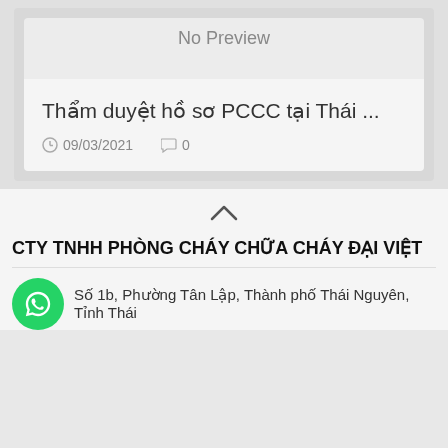[Figure (screenshot): No Preview placeholder card for article 'Thẩm duyệt hồ sơ PCCC tại Thái ...' dated 09/03/2021 with 0 comments]
Thẩm duyệt hồ sơ PCCC tại Thái ...
09/03/2021   0
CTY TNHH PHÒNG CHÁY CHỮA CHÁY ĐẠI VIỆT
Số 1b, Phường Tân Lập, Thành phố Thái Nguyên, Tỉnh Thái